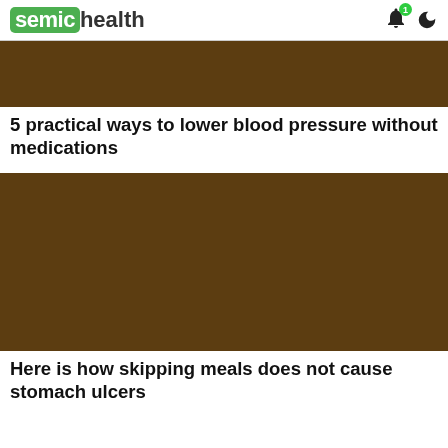semichealth
[Figure (photo): Brown/dark olive colored image placeholder for article about blood pressure]
5 practical ways to lower blood pressure without medications
[Figure (photo): Brown/dark olive colored image placeholder for article about skipping meals]
Here is how skipping meals does not cause stomach ulcers